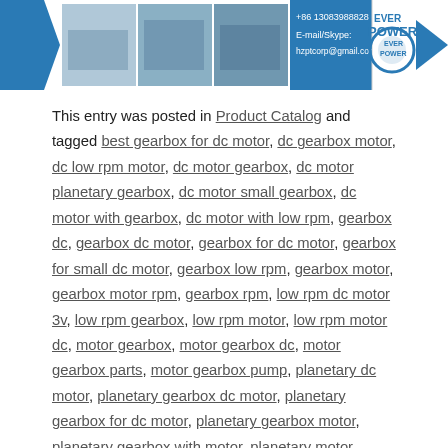[Figure (logo): Ever Power company banner with photos of factory/warehouse, contact info (+86 13083988828, E-mail/Skype: hzptcorp@gmail.com), circular logo, and EVER POWER text with blue triangle arrow.]
This entry was posted in Product Catalog and tagged best gearbox for dc motor, dc gearbox motor, dc low rpm motor, dc motor gearbox, dc motor planetary gearbox, dc motor small gearbox, dc motor with gearbox, dc motor with low rpm, gearbox dc, gearbox dc motor, gearbox for dc motor, gearbox for small dc motor, gearbox low rpm, gearbox motor, gearbox motor rpm, gearbox rpm, low rpm dc motor 3v, low rpm gearbox, low rpm motor, low rpm motor dc, motor gearbox, motor gearbox dc, motor gearbox parts, motor gearbox pump, planetary dc motor, planetary gearbox dc motor, planetary gearbox for dc motor, planetary gearbox motor, planetary gearbox with motor, planetary motor, planetary motor gearbox, rpm in gearbox, rpm motor, small dc motor gearbox, small dc motor with gearbox, small gearbox, small gearbox for dc motor, small gearbox motor, small gearbox with motor, small low rpm dc motor, small low rpm motor, small motor gearbox, small motor with gearbox, small planetary